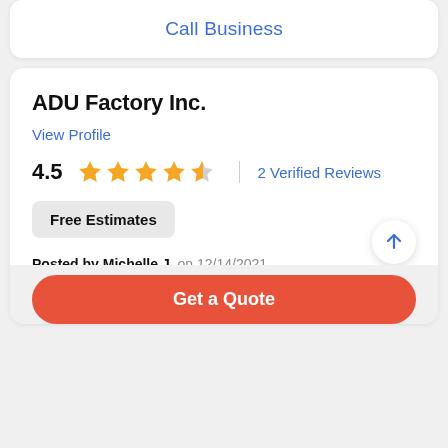Call Business
ADU Factory Inc.
View Profile
4.5  ★★★★½  2 Verified Reviews
Free Estimates
Posted by Michelle J. on 12/14/2021
They did a great job. The service and the work was outstanding. Everything went really, really View More
Get a Quote